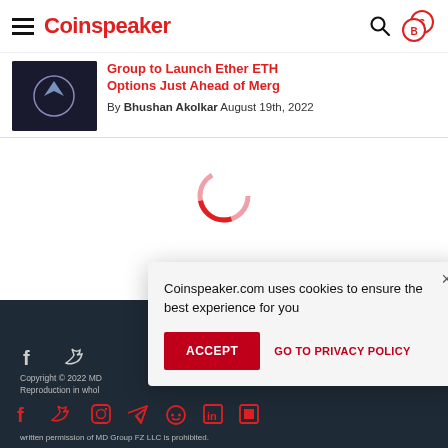Coinspeaker
Group to Launch Ether ETH Options Just Ahead of Merg
By Bhushan Akolkar August 19th, 2022
[Figure (illustration): Loading spinner - circular red/pink ring indicating content loading]
Coinspeaker.com uses cookies to ensure the best experience for you
ACCEPT   GO TO PRIVACY POLICY
Copyright © 2022 MD... Reproduction in whol... written permission of MD... Group FZ LLC is prohibited.